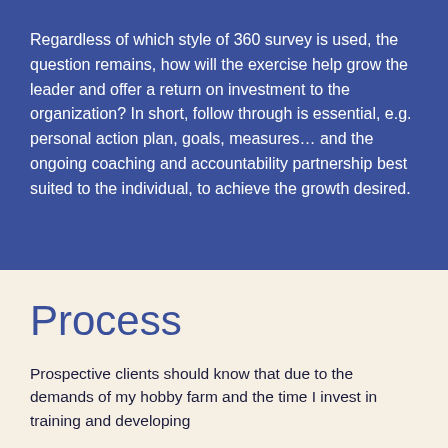Regardless of which style of 360 survey is used, the question remains, how will the exercise help grow the leader and offer a return on investment to the organization? In short, follow through is essential, e.g. personal action plan, goals, measures… and the ongoing coaching and accountability partnership best suited to the individual, to achieve the growth desired.
Process
Prospective clients should know that due to the demands of my hobby farm and the time I invest in training and developing